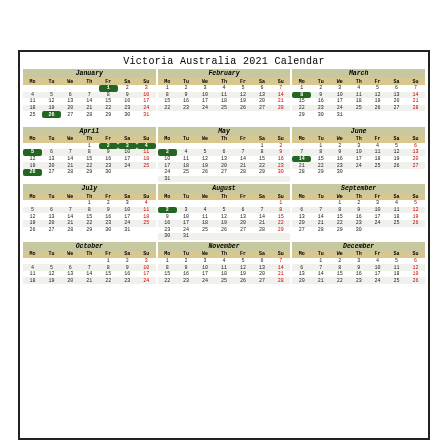Victoria Australia 2021 Calendar
| Mo | Tu | We | Th | Fr | Sa | Su |
| --- | --- | --- | --- | --- | --- | --- |
|  |  |  |  | 1 | 2 | 3 |
| 4 | 5 | 6 | 7 | 8 | 9 | 10 |
| 11 | 12 | 13 | 14 | 15 | 16 | 17 |
| 18 | 19 | 20 | 21 | 22 | 23 | 24 |
| 25 | 26 | 27 | 28 | 29 | 30 | 31 |
| Mo | Tu | We | Th | Fr | Sa | Su |
| --- | --- | --- | --- | --- | --- | --- |
| 1 | 2 | 3 | 4 | 5 | 6 | 7 |
| 8 | 9 | 10 | 11 | 12 | 13 | 14 |
| 15 | 16 | 17 | 18 | 19 | 20 | 21 |
| 22 | 23 | 24 | 25 | 26 | 27 | 28 |
| Mo | Tu | We | Th | Fr | Sa | Su |
| --- | --- | --- | --- | --- | --- | --- |
| 1 | 2 | 3 | 4 | 5 | 6 | 7 |
| 8 | 9 | 10 | 11 | 12 | 13 | 14 |
| 15 | 16 | 17 | 18 | 19 | 20 | 21 |
| 22 | 23 | 24 | 25 | 26 | 27 | 28 |
| 29 | 30 | 31 |  |  |  |  |
| Mo | Tu | We | Th | Fr | Sa | Su |
| --- | --- | --- | --- | --- | --- | --- |
|  |  |  | 1 | 2 | 3 | 4 |
| 5 | 6 | 7 | 8 | 9 | 10 | 11 |
| 12 | 13 | 14 | 15 | 16 | 17 | 18 |
| 19 | 20 | 21 | 22 | 23 | 24 | 25 |
| 26 | 27 | 28 | 29 | 30 |  |  |
| Mo | Tu | We | Th | Fr | Sa | Su |
| --- | --- | --- | --- | --- | --- | --- |
|  |  |  |  |  | 1 | 2 |
| 3 | 4 | 5 | 6 | 7 | 8 | 9 |
| 10 | 11 | 12 | 13 | 14 | 15 | 16 |
| 17 | 18 | 19 | 20 | 21 | 22 | 23 |
| 24 | 25 | 26 | 27 | 28 | 29 | 30 |
| 31 |  |  |  |  |  |  |
| Mo | Tu | We | Th | Fr | Sa | Su |
| --- | --- | --- | --- | --- | --- | --- |
|  | 1 | 2 | 3 | 4 | 5 | 6 |
| 7 | 8 | 9 | 10 | 11 | 12 | 13 |
| 14 | 15 | 16 | 17 | 18 | 19 | 20 |
| 21 | 22 | 23 | 24 | 25 | 26 | 27 |
| 28 | 29 | 30 |  |  |  |  |
| Mo | Tu | We | Th | Fr | Sa | Su |
| --- | --- | --- | --- | --- | --- | --- |
|  |  |  | 1 | 2 | 3 | 4 |
| 5 | 6 | 7 | 8 | 9 | 10 | 11 |
| 12 | 13 | 14 | 15 | 16 | 17 | 18 |
| 19 | 20 | 21 | 22 | 23 | 24 | 25 |
| 26 | 27 | 28 | 29 | 30 | 31 |  |
| Mo | Tu | We | Th | Fr | Sa | Su |
| --- | --- | --- | --- | --- | --- | --- |
|  |  |  |  |  |  | 1 |
| 2 | 3 | 4 | 5 | 6 | 7 | 8 |
| 9 | 10 | 11 | 12 | 13 | 14 | 15 |
| 16 | 17 | 18 | 19 | 20 | 21 | 22 |
| 23 | 24 | 25 | 26 | 27 | 28 | 29 |
| 30 | 31 |  |  |  |  |  |
| Mo | Tu | We | Th | Fr | Sa | Su |
| --- | --- | --- | --- | --- | --- | --- |
|  |  | 1 | 2 | 3 | 4 | 5 |
| 6 | 7 | 8 | 9 | 10 | 11 | 12 |
| 13 | 14 | 15 | 16 | 17 | 18 | 19 |
| 20 | 21 | 22 | 23 | 24 | 25 | 26 |
| 27 | 28 | 29 | 30 |  |  |  |
| Mo | Tu | We | Th | Fr | Sa | Su |
| --- | --- | --- | --- | --- | --- | --- |
|  |  |  |  | 1 | 2 | 3 |
| 4 | 5 | 6 | 7 | 8 | 9 | 10 |
| 11 | 12 | 13 | 14 | 15 | 16 | 17 |
| 18 | 19 | 20 | 21 | 22 | 23 | 24 |
| Mo | Tu | We | Th | Fr | Sa | Su |
| --- | --- | --- | --- | --- | --- | --- |
| 1 | 2 | 3 | 4 | 5 | 6 | 7 |
| 8 | 9 | 10 | 11 | 12 | 13 | 14 |
| 15 | 16 | 17 | 18 | 19 | 20 | 21 |
| 22 | 23 | 24 | 25 | 26 | 27 | 28 |
| Mo | Tu | We | Th | Fr | Sa | Su |
| --- | --- | --- | --- | --- | --- | --- |
|  | 1 | 2 | 3 | 4 | 5 | 6 |
| 6 | 7 | 8 | 9 | 10 | 11 | 12 |
| 13 | 14 | 15 | 16 | 17 | 18 | 19 |
| 20 | 21 | 22 | 23 | 24 | 25 | 26 |